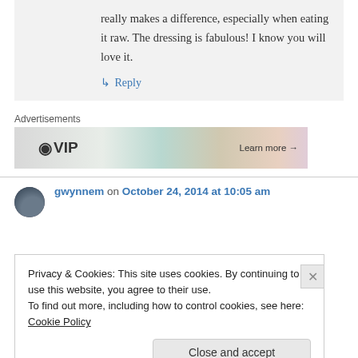really makes a difference, especially when eating it raw. The dressing is fabulous! I know you will love it.
↳ Reply
Advertisements
[Figure (other): WordPress VIP advertisement banner with colorful background and Learn more arrow]
gwynnem on October 24, 2014 at 10:05 am
Privacy & Cookies: This site uses cookies. By continuing to use this website, you agree to their use.
To find out more, including how to control cookies, see here: Cookie Policy
Close and accept